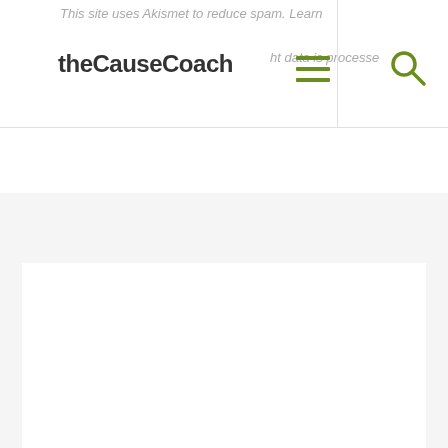This site uses Akismet to reduce spam. Learn how your comment data is processed.
theCauseCoach